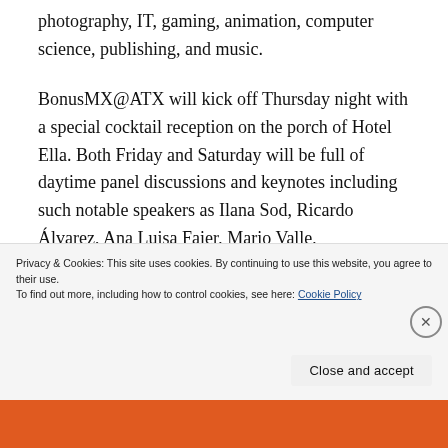photography, IT, gaming, animation, computer science, publishing, and music.
BonusMX@ATX will kick off Thursday night with a special cocktail reception on the porch of Hotel Ella. Both Friday and Saturday will be full of daytime panel discussions and keynotes including such notable speakers as Ilana Sod, Ricardo Álvarez, Ana Luisa Faier, Mario Valle,
Privacy & Cookies: This site uses cookies. By continuing to use this website, you agree to their use.
To find out more, including how to control cookies, see here: Cookie Policy